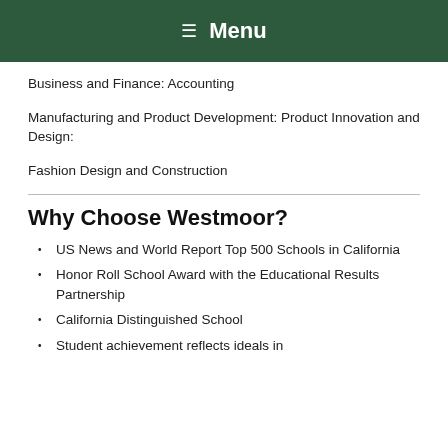Menu
Business and Finance: Accounting
Manufacturing and Product Development: Product Innovation and Design:
Fashion Design and Construction
Why Choose Westmoor?
US News and World Report Top 500 Schools in California
Honor Roll School Award with the Educational Results Partnership
California Distinguished School
Student achievement reflects ideals in